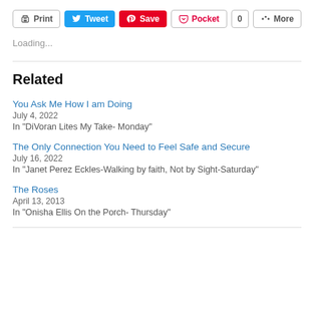[Figure (other): Social sharing button bar with Print, Tweet, Save (Pinterest), Pocket, count badge 0, and More buttons]
Loading...
Related
You Ask Me How I am Doing
July 4, 2022
In "DiVoran Lites My Take- Monday"
The Only Connection You Need to Feel Safe and Secure
July 16, 2022
In "Janet Perez Eckles-Walking by faith, Not by Sight-Saturday"
The Roses
April 13, 2013
In "Onisha Ellis On the Porch- Thursday"